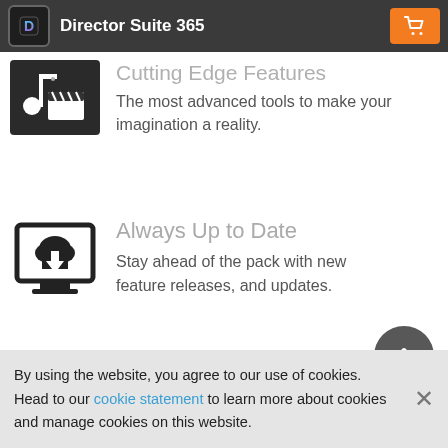Director Suite 365
[Figure (illustration): Black icon showing a music note with a film clapperboard on a dark background]
Cutting Edge Features
The most advanced tools to make your imagination a reality.
[Figure (illustration): Black icon of a monitor screen with a cloud download arrow]
Always Up to Date
Stay ahead of the pack with new feature releases, and updates.
[Figure (illustration): Dark circle with a chevron/up-arrow — scroll to top button]
[Figure (illustration): Black icon of stacked film frames with a star sparkle]
Cinema-style Visual Effects
By using the website, you agree to our use of cookies. Head to our cookie statement to learn more about cookies and manage cookies on this website.